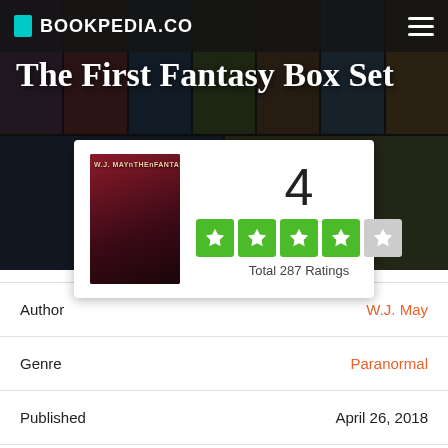BOOKPEDIA.CO
The First Fantasy Box Set
[Figure (other): Book rating card showing cover art for The First Fantasy Box Set by W.J. May, a star rating of 4 out of 5 using green filled stars (4 filled, 1 gray), and Total 287 Ratings]
| Field | Value |
| --- | --- |
| Author | W.J. May |
| Genre | Paranormal |
| Published | April 26, 2018 |